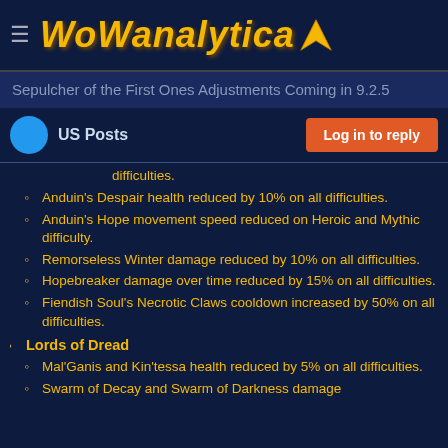WoWanalytica
Sepulcher of the First Ones Adjustments Coming in 9.2.5
US Posts | Log in to reply
difficulties.
Anduin's Despair health reduced by 10% on all difficulties.
Anduin's Hope movement speed reduced on Heroic and Mythic difficulty.
Remorseless Winter damage reduced by 10% on all difficulties.
Hopebreaker damage over time reduced by 15% on all difficulties.
Fiendish Soul's Necrotic Claws cooldown increased by 50% on all difficulties.
Lords of Dread
Mal'Ganis and Kin'tessa health reduced by 5% on all difficulties.
Swarm of Decay and Swarm of Darkness damage